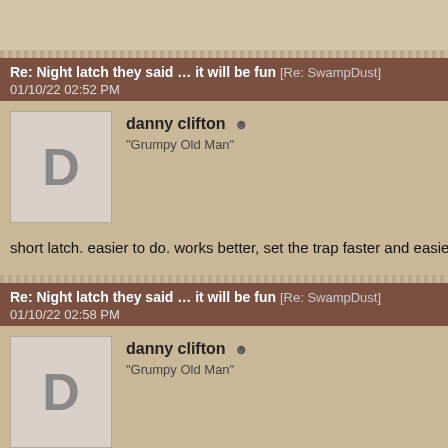Re: Night latch they said … it will be fun [Re: SwampDust]
01/10/22 02:52 PM
danny clifton
"Grumpy Old Man"
short latch. easier to do. works better, set the trap faster and easier. hab that but just like a pan tension tester is an unneeded gimmick so is a ni
Re: Night latch they said … it will be fun [Re: SwampDust]
01/10/22 02:58 PM
danny clifton
"Grumpy Old Man"
[Figure (photo): Partial close-up photo of a person's lower face/chin area, partially visible at the bottom of the page. A scroll-to-top button with a green chevron/caret is overlaid in the bottom-right corner.]